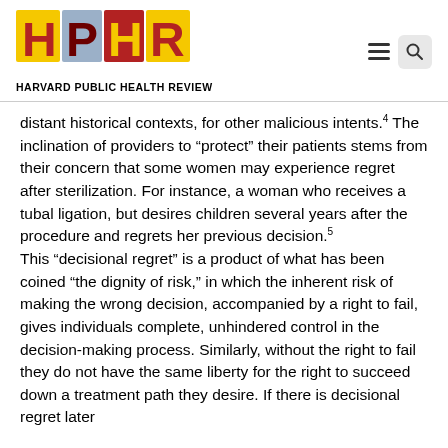HARVARD PUBLIC HEALTH REVIEW
distant historical contexts, for other malicious intents.4 The inclination of providers to “protect” their patients stems from their concern that some women may experience regret after sterilization. For instance, a woman who receives a tubal ligation, but desires children several years after the procedure and regrets her previous decision.5 This “decisional regret” is a product of what has been coined “the dignity of risk,” in which the inherent risk of making the wrong decision, accompanied by a right to fail, gives individuals complete, unhindered control in the decision-making process. Similarly, without the right to fail they do not have the same liberty for the right to succeed down a treatment path they desire. If there is decisional regret later